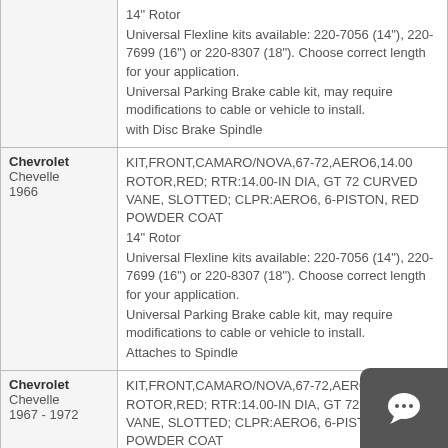| Vehicle | Description |
| --- | --- |
| (continuation) | 14" Rotor
Universal Flexline kits available: 220-7056 (14"), 220-7699 (16") or 220-8307 (18"). Choose correct length for your application.
Universal Parking Brake cable kit, may require modifications to cable or vehicle to install.
with Disc Brake Spindle |
| Chevrolet
Chevelle
1966 | KIT,FRONT,CAMARO/NOVA,67-72,AERO6,14.00 ROTOR,RED; RTR:14.00-IN DIA, GT 72 CURVED VANE, SLOTTED; CLPR:AERO6, 6-PISTON, RED POWDER COAT
14" Rotor
Universal Flexline kits available: 220-7056 (14"), 220-7699 (16") or 220-8307 (18"). Choose correct length for your application.
Universal Parking Brake cable kit, may require modifications to cable or vehicle to install.
Attaches to Spindle |
| Chevrolet
Chevelle
1967 - 1972 | KIT,FRONT,CAMARO/NOVA,67-72,AERO6,14.00 ROTOR,RED; RTR:14.00-IN DIA, GT 72 CURVED VANE, SLOTTED; CLPR:AERO6, 6-PISTON, RED POWDER COAT
14" Rotor
Universal Flexline kits available: 220-7056 (14"), 220-7699 (16") or 220-8307 (18"). Choose correct |